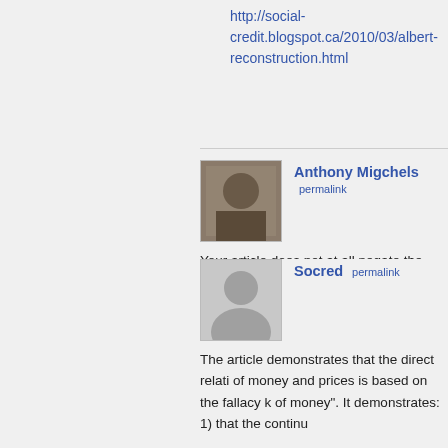http://social-credit.blogspot.ca/2010/03/albert-reconstruction.html
Anthony Migchels permalink
Your article does not at all negate the causation between volume of money and prices Socred.

In the first place: credit IS money. Growing credit inflates prices there. Witholding credit ends the book.

Credit money DOES circulate. True, not by to the numbers going from account to account.
Socred permalink
The article demonstrates that the direct relation of money and prices is based on the fallacy k of money". It demonstrates: 1) that the continu